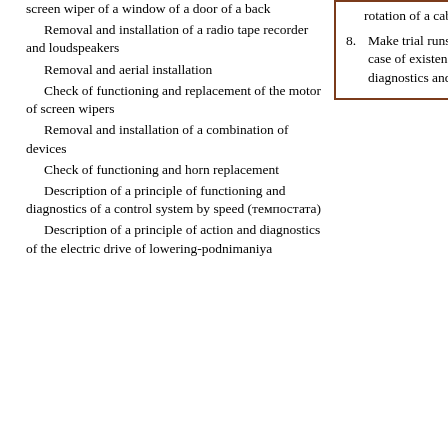screen wiper of a window of a door of a back
    Removal and installation of a radio tape recorder and loudspeakers
    Removal and aerial installation
    Check of functioning and replacement of the motor of screen wipers
    Removal and installation of a combination of devices
    Check of functioning and horn replacement
    Description of a principle of functioning and diagnostics of a control system by speed (темпостата)
    Description of a principle of action and diagnostics of the electric drive of lowering-podnimaniya
rotation of a cable does not change, the sensor is faulty.
Make trial runs of the car, checking serviceability of functioning of a control system in the speed. In case of existence of any problems drive away the car in dealer office for carrying out complete diagnostics and system repair.